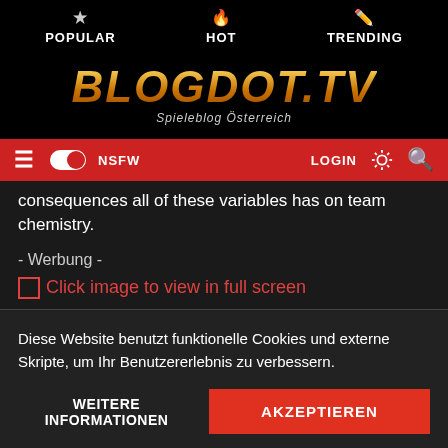POPULAR  HOT  TRENDING
[Figure (logo): BLOGDOT.TV logo with subtitle 'Spieleblog Österreich' on black background]
≡  NSFW  LOGIN
consequences all of these variables has on team chemistry.
- Werbung -
Click image to view in full screen
Diese Website benutzt funktionelle Cookies und externe Skripte, um Ihr Benutzererlebnis zu verbessern.
WEITERE INFORMATIONEN    AKZEPTIEREN